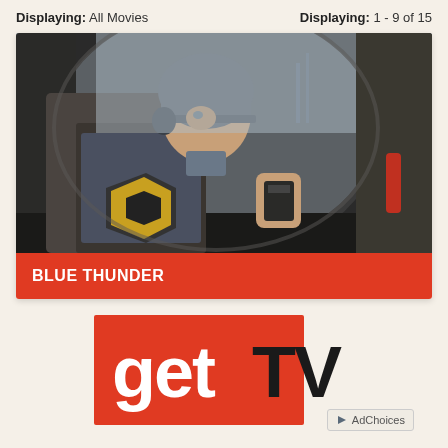Displaying: All Movies    Displaying: 1 - 9 of 15
[Figure (photo): Movie still from Blue Thunder showing a soldier in military gear sitting in a helicopter cockpit, holding a radio device, wearing a helmet with 1st Cavalry Division patch visible on jacket]
BLUE THUNDER
[Figure (logo): getTV logo - orange/red rectangle background with white 'get' text and dark 'TV' text]